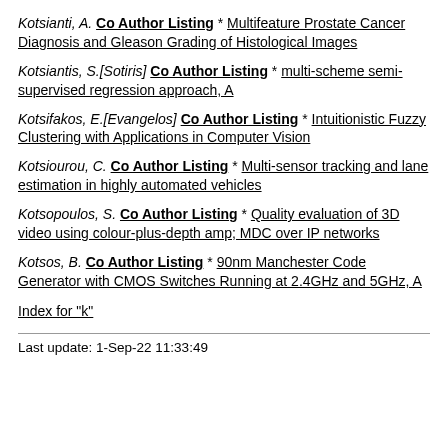Kotsianti, A. Co Author Listing * Multifeature Prostate Cancer Diagnosis and Gleason Grading of Histological Images
Kotsiantis, S.[Sotiris] Co Author Listing * multi-scheme semi-supervised regression approach, A
Kotsifakos, E.[Evangelos] Co Author Listing * Intuitionistic Fuzzy Clustering with Applications in Computer Vision
Kotsiourou, C. Co Author Listing * Multi-sensor tracking and lane estimation in highly automated vehicles
Kotsopoulos, S. Co Author Listing * Quality evaluation of 3D video using colour-plus-depth amp; MDC over IP networks
Kotsos, B. Co Author Listing * 90nm Manchester Code Generator with CMOS Switches Running at 2.4GHz and 5GHz, A
Index for "k"
Last update: 1-Sep-22 11:33:49